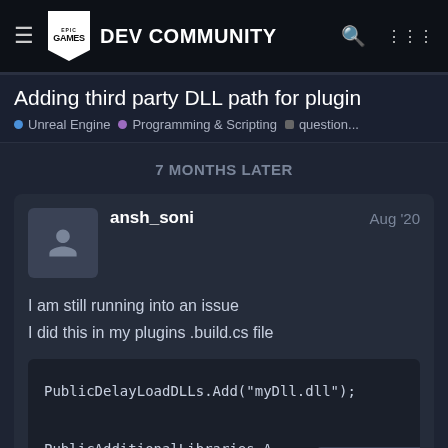Epic Games DEV COMMUNITY
Adding third party DLL path for plugin
Unreal Engine · Programming & Scripting · question...
7 MONTHS LATER
ansh_soni  Aug '20
I am still running into an issue
I did this in my plugins .build.cs file
PublicDelayLoadDLLs.Add("myDll.dll");

PublicAdditionalLibraries.A
11 / 12